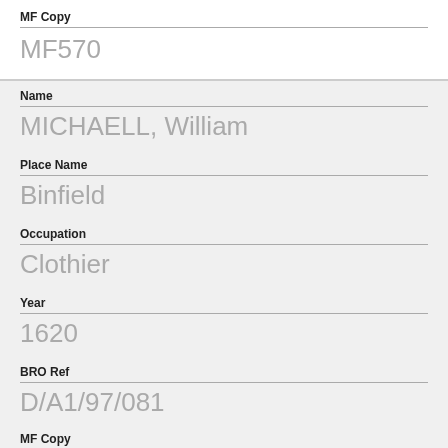| Field | Value |
| --- | --- |
| MF Copy | MF570 |
| Name | MICHAELL, William |
| Place Name | Binfield |
| Occupation | Clothier |
| Year | 1620 |
| BRO Ref | D/A1/97/081 |
| MF Copy |  |